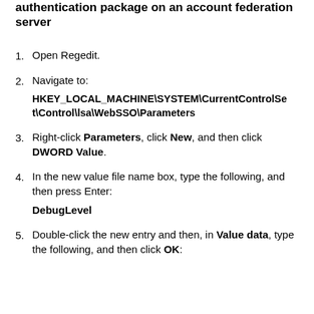authentication package on an account federation server
1. Open Regedit.
2. Navigate to:
HKEY_LOCAL_MACHINE\SYSTEM\CurrentControlSet\Control\lsa\WebSSO\Parameters
3. Right-click Parameters, click New, and then click DWORD Value.
4. In the new value file name box, type the following, and then press Enter:
DebugLevel
5. Double-click the new entry and then, in Value data, type the following, and then click OK: